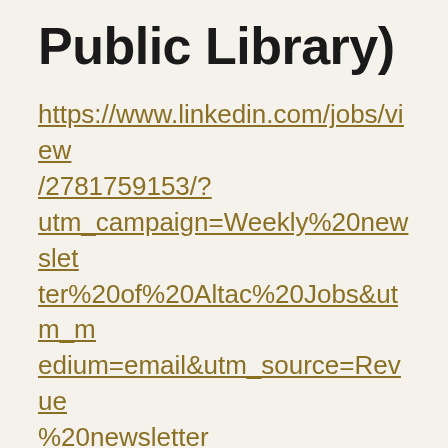Public Library)
https://www.linkedin.com/jobs/view/2781759153/?utm_campaign=Weekly%20newsletter%20of%20Altac%20Jobs&utm_medium=email&utm_source=Revue%20newsletter
The Boston Public Library operates as both a city agency and a separately incorporated non-profit